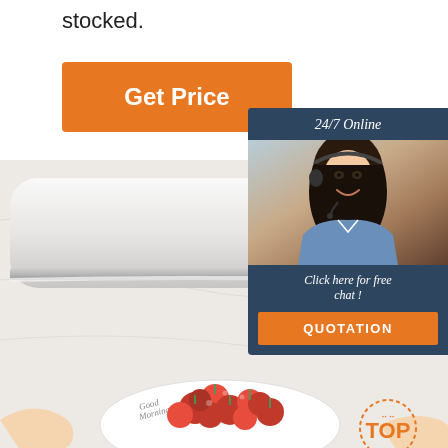stocked.
[Figure (other): Orange 'Get Price' button]
[Figure (photo): Photo of a cling wrap dispenser on a marble surface with cherry tomatoes on a white plate below, and a customer service representative widget on the right side showing '24/7 Online', 'Click here for free chat!', and a QUOTATION button. A 'TOP' badge is visible at the bottom right.]
24/7 Online
Click here for free chat !
QUOTATION
[Figure (illustration): TOP badge with dotted circle in orange]